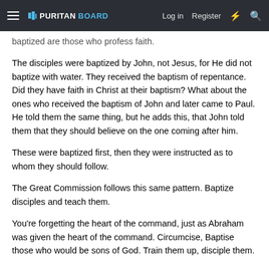PURITAN BOARD | Log in | Register
baptized are those who profess faith.
The disciples were baptized by John, not Jesus, for He did not baptize with water. They received the baptism of repentance. Did they have faith in Christ at their baptism? What about the ones who received the baptism of John and later came to Paul. He told them the same thing, but he adds this, that John told them that they should believe on the one coming after him.
These were baptized first, then they were instructed as to whom they should follow.
The Great Commission follows this same pattern. Baptize disciples and teach them.
You're forgetting the heart of the command, just as Abraham was given the heart of the command. Circumcise, Baptise those who would be sons of God. Train them up, disciple them.